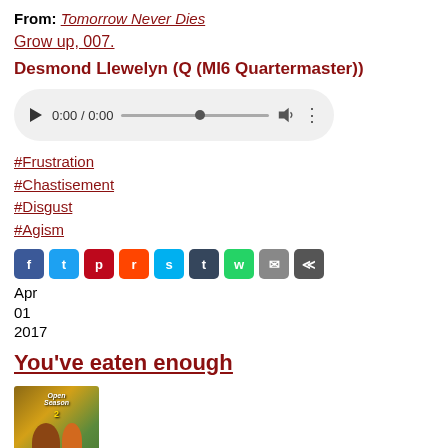From: Tomorrow Never Dies
Grow up, 007.
Desmond Llewelyn (Q (MI6 Quartermaster))
[Figure (other): Audio player widget showing 0:00 / 0:00 with play button, progress bar, volume icon, and more options icon]
#Frustration
#Chastisement
#Disgust
#Agism
[Figure (infographic): Row of social media share icons: Facebook, Twitter, Pinterest, Reddit, StumbleUpon, Tumblr, WhatsApp, Email, Share]
Apr
01
2017
You've eaten enough
[Figure (photo): Movie cover image for Open Season 2 showing animated bear and deer characters with orange/green background]